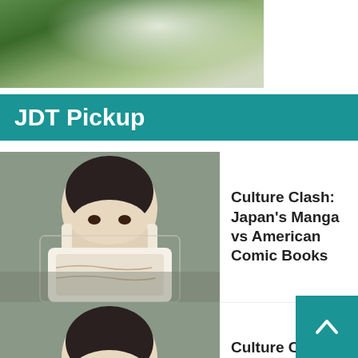[Figure (photo): Partial aerial or landscape photo with green and grey tones, mountains or rocky terrain with snow]
JDT Pickup
Culture Clash: Japan's Manga vs American Comic Books
Culture Clash: Japan's Manga vs American Comic Books
Book Now & Last Minute Discounts for Anime & Cherry Blossom Japan Tours 2019!
Book Now & Last Minute Discounts